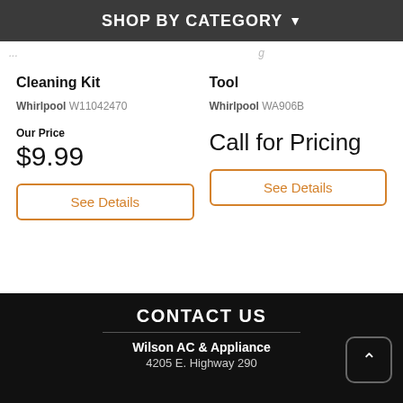SHOP BY CATEGORY
Cleaning Kit
Whirlpool W11042470
Our Price $9.99
See Details
Tool
Whirlpool WA906B
Call for Pricing
See Details
CONTACT US
Wilson AC & Appliance
4205 E. Highway 290